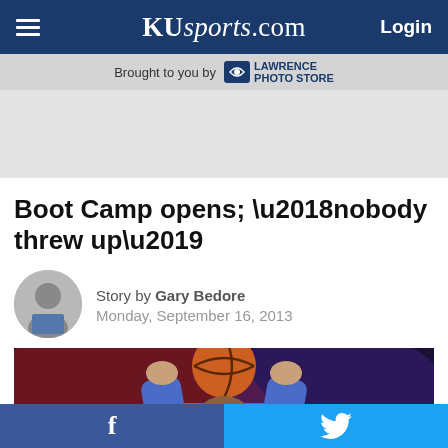KUsports.com — Login
Brought to you by Lawrence Photo Store
Boot Camp opens; ‘nobody threw up’
Story by Gary Bedore
Monday, September 16, 2013
[Figure (photo): Basketball player in blue jersey holding basketball above head, shooting or catching, action photo with dark background]
f (Facebook) | Twitter bird icon